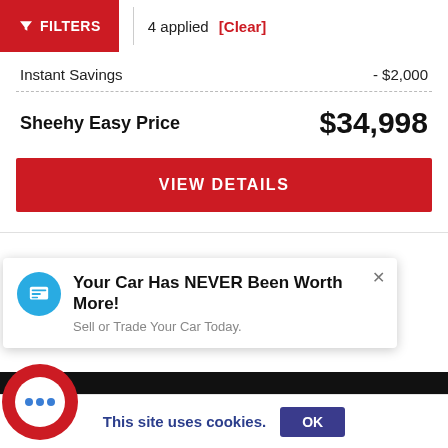FILTERS | 4 applied [Clear]
Instant Savings  - $2,000
Sheehy Easy Price  $34,998
VIEW DETAILS
Your Car Has NEVER Been Worth More! Sell or Trade Your Car Today.
[Figure (photo): Front view of a truck/SUV vehicle in silver/gray color]
This site uses cookies.  OK